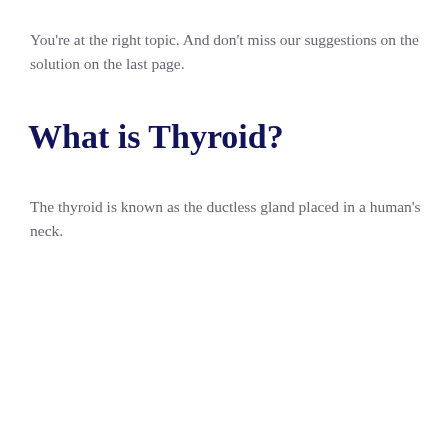You're at the right topic. And don't miss our suggestions on the solution on the last page.
What is Thyroid?
The thyroid is known as the ductless gland placed in a human's neck.